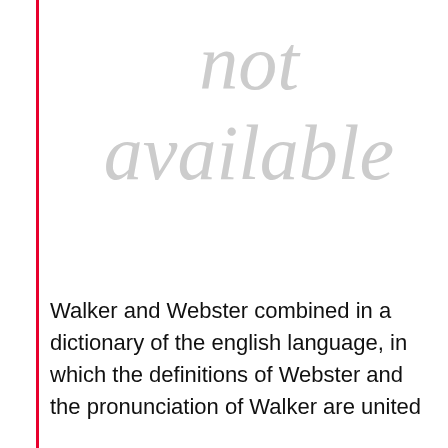[Figure (other): Watermark text reading 'not available' in large light gray italic letters]
Walker and Webster combined in a dictionary of the english language, in which the definitions of Webster and the pronunciation of Walker are united